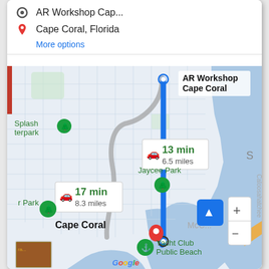[Figure (screenshot): Google Maps screenshot showing driving directions from AR Workshop Cape Coral to Cape Coral, Florida. Two routes are shown: a blue highlighted route (13 min, 6.5 miles) and a gray alternate route (17 min, 8.3 miles). The map shows Cape Coral area in Florida with water bodies, street grid, and place labels including Splash terpark, Jaycee Park, Yacht Club Public Beach, and McC (McGregor). A directions panel at the top shows origin (AR Workshop Cap...) and destination (Cape Coral, Florida) with a More options link. Zoom controls and an up-arrow button appear in the bottom right.]